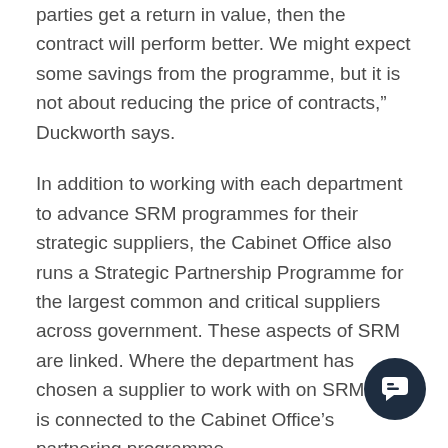parties get a return in value, then the contract will perform better. We might expect some savings from the programme, but it is not about reducing the price of contracts," Duckworth says.
In addition to working with each department to advance SRM programmes for their strategic suppliers, the Cabinet Office also runs a Strategic Partnership Programme for the largest common and critical suppliers across government. These aspects of SRM are linked. Where the department has chosen a supplier to work with on SRM, that is connected to the Cabinet Office's partnering programme.
“During the second phase of the